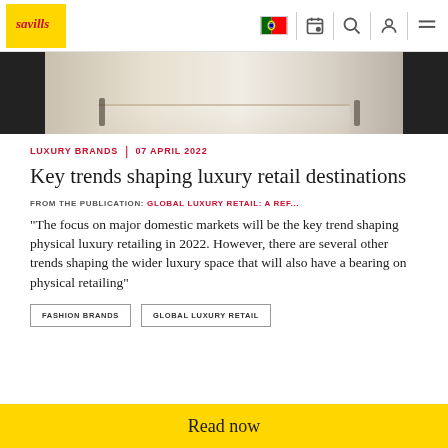Savills logo and navigation bar with flag, calendar, search, user, and menu icons
[Figure (photo): Street-level exterior photo of a luxury retail storefront with people walking past]
LUXURY BRANDS | 07 APRIL 2022
Key trends shaping luxury retail destinations
FROM THE PUBLICATION: GLOBAL LUXURY RETAIL: A REF...
"The focus on major domestic markets will be the key trend shaping physical luxury retailing in 2022. However, there are several other trends shaping the wider luxury space that will also have a bearing on physical retailing"
FASHION BRANDS
GLOBAL LUXURY RETAIL
Read now